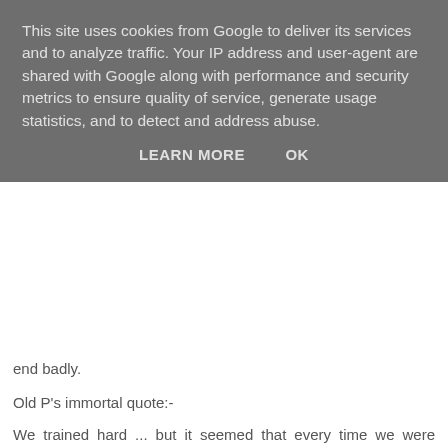This site uses cookies from Google to deliver its services and to analyze traffic. Your IP address and user-agent are shared with Google along with performance and security metrics to ensure quality of service, generate usage statistics, and to detect and address abuse.
LEARN MORE   OK
end badly.
Old P's immortal quote:-
We trained hard ... but it seemed that every time we were beginning to form up into teams we would be reorganised. I was to learn later in life that we tend to meet any new situation by reorganising; and a wonderful method it can be for creating the illusion of progress while producing confusion, inefficiency, and demoralisation.
Oh Tempora, Oh Mores.
Reply